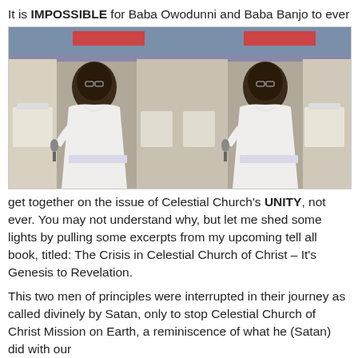It is IMPOSSIBLE for Baba Owodunni and Baba Banjo to ever
[Figure (photo): Two side-by-side photos of the same man wearing a white robe and holding a microphone, speaking at what appears to be a church gathering]
get together on the issue of Celestial Church's UNITY, not ever. You may not understand why, but let me shed some lights by pulling some excerpts from my upcoming tell all book, titled: The Crisis in Celestial Church of Christ – It's Genesis to Revelation.
This two men of principles were interrupted in their journey as called divinely by Satan, only to stop Celestial Church of Christ Mission on Earth, a reminiscence of what he (Satan) did with our